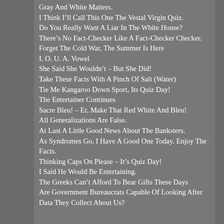Gray And White Matters.
I Think I’ll Call This One The Vestal Virgin Quiz.
Do You Really Want A Liar In The White House?
There’s No Fact-Checker Like A Fact-Checker Checker.
Forget The Cold War, The Summer Is Here
I. O. U. A. Vowel
She Said She Wouldn’t – But She Did!
Take These Facts With A Pinch Of Salt (Water)
Tie Me Kangaroo Down Sport, Its Quiz Day!
The Entertainer Continues
Sacre Bleu! – Er, Make That Red White And Bleu!
All Generalizations Are False.
At Last A Little Good News About The Banksters.
As Syndromes Go, I Have A Good One Today. Enjoy The Facts.
Thinking Caps On Please – It’s Quiz Day!
I Said He Would Be Entertaining.
The Greeks Can’t Afford To Bear Gifts These Days
Are Government Bureaucrats Capable Of Looking After Data They Collect About Us?